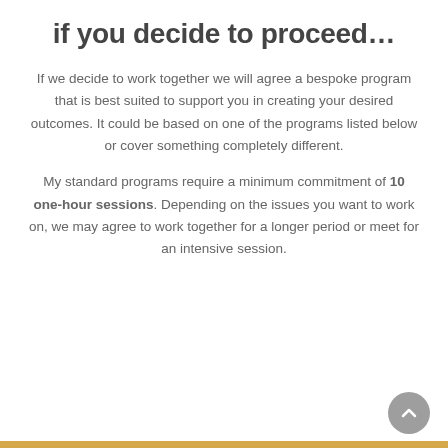if you decide to proceed…
If we decide to work together we will agree a bespoke program that is best suited to support you in creating your desired outcomes. It could be based on one of the programs listed below or cover something completely different.
My standard programs require a minimum commitment of 10 one-hour sessions. Depending on the issues you want to work on, we may agree to work together for a longer period or meet for an intensive session.